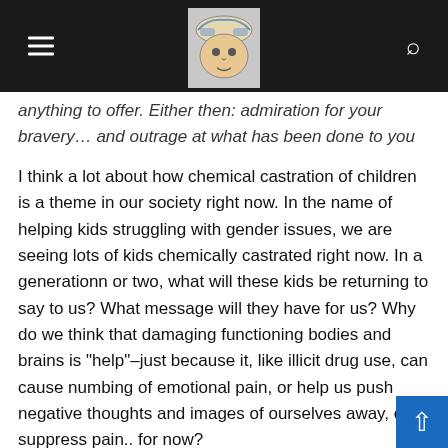[Navigation header with hamburger menu, logo image, and search icon]
anything to offer. Either then: admiration for your bravery… and outrage at what has been done to you and others.
I think a lot about how chemical castration of children is a theme in our society right now. In the name of helping kids struggling with gender issues, we are seeing lots of kids chemically castrated right now. In a generationn or two, what will these kids be returning to say to us? What message will they have for us? Why do we think that damaging functioning bodies and brains is "help"–just because it, like illicit drug use, can cause numbing of emotional pain, or help us push negative thoughts and images of ourselves away, or suppress pain.. for now?
it's scary what psychiatry is willing to do to people.